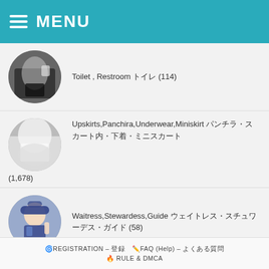MENU
Toilet , Restroom トイレ (114)
Upskirts,Panchira,Underwear,Miniskirt パンチラ・スカート内・下着・ミニスカート (1,678)
Waitress,Stewardess,Guide ウェイトレス・スチュワーデス・ガイド (58)
🔥 MEMBERSHIP 🔥 (1)
🌀REGISTRATION – 登録　✏️FAQ (Help) – よくある質問　🔥RULE & DMCA